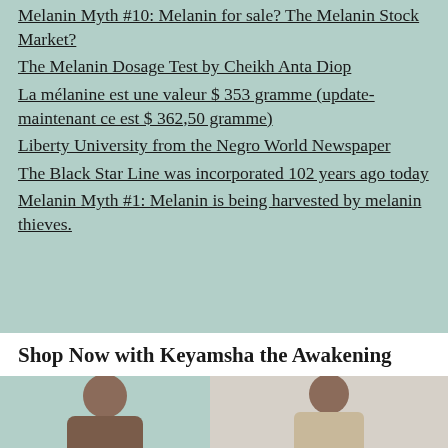Melanin Myth #10: Melanin for sale? The Melanin Stock Market?
The Melanin Dosage Test by Cheikh Anta Diop
La mélanine est une valeur $ 353 gramme (update- maintenant ce est $ 362,50 gramme)
Liberty University from the Negro World Newspaper
The Black Star Line was incorporated 102 years ago today
Melanin Myth #1: Melanin is being harvested by melanin thieves.
Shop Now with Keyamsha the Awakening
[Figure (photo): Two product images showing people, left image on teal background, right image on grey/cream background]